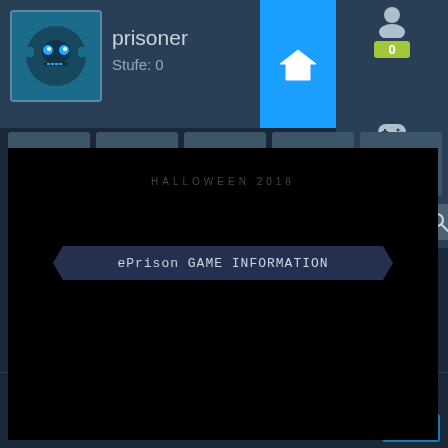[Figure (screenshot): Steam-like gaming platform UI showing user profile 'prisoner' at level 0, navigation icons, a Halloween game screenshot with 'ePrison GAME INFORMATION' banner, search bar reading 'Suche...', game title 'Shadow of a Soul', dated Mai 2013, genre Horror Action-Adventure, with Steam footer button 'ka']
prisoner
Stufe: 0
Shadow of a Soul
Mai 2013  Horror Action-Adventure
ePrison GAME INFORMATION
HALLOWEEN 2018
Suche...
ka